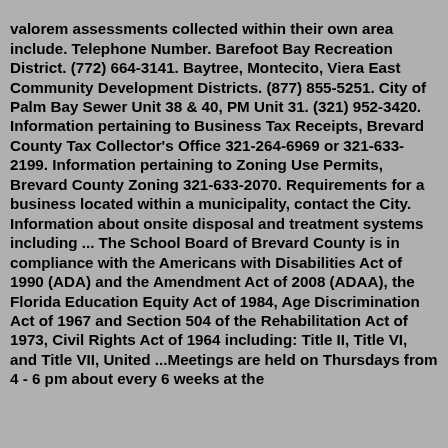valorem assessments collected within their own area include. Telephone Number. Barefoot Bay Recreation District. (772) 664-3141. Baytree, Montecito, Viera East Community Development Districts. (877) 855-5251. City of Palm Bay Sewer Unit 38 & 40, PM Unit 31. (321) 952-3420. Information pertaining to Business Tax Receipts, Brevard County Tax Collector's Office 321-264-6969 or 321-633-2199. Information pertaining to Zoning Use Permits, Brevard County Zoning 321-633-2070. Requirements for a business located within a municipality, contact the City. Information about onsite disposal and treatment systems including ... The School Board of Brevard County is in compliance with the Americans with Disabilities Act of 1990 (ADA) and the Amendment Act of 2008 (ADAA), the Florida Education Equity Act of 1984, Age Discrimination Act of 1967 and Section 504 of the Rehabilitation Act of 1973, Civil Rights Act of 1964 including: Title II, Title VI, and Title VII, United ...Meetings are held on Thursdays from 4 - 6 pm about every 6 weeks at the